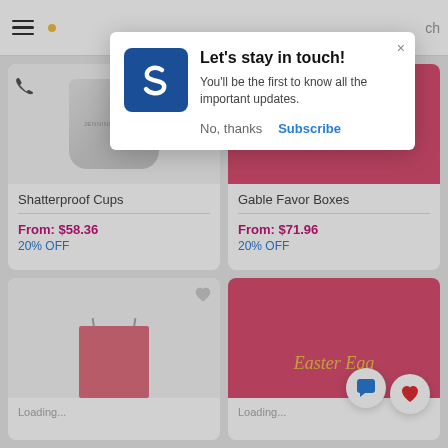[Figure (screenshot): Navigation bar with hamburger menu, yellow dot, and phone icon]
[Figure (screenshot): Product card for Shatterproof Cups showing a gray cup with JENNINGS FAMILY text, price From: $58.36, 20% OFF]
Shatterproof Cups
From: $58.36
20% OFF
[Figure (screenshot): Product card for Gable Favor Boxes showing pink background with golden numbers, price From: $71.96, 20% OFF]
Gable Favor Boxes
From: $71.96
20% OFF
[Figure (screenshot): Bottom left product card showing pink bag with handles and heart icon]
[Figure (screenshot): Bottom right product card showing pink Easter Egg product with chat and heart floating buttons]
Easter Egg
[Figure (screenshot): Modal popup with S logo (blue square), title Let's stay in touch!, body text You'll be the first to know all the important updates., buttons No thanks and Subscribe]
Let's stay in touch!
You'll be the first to know all the important updates.
No, thanks
Subscribe